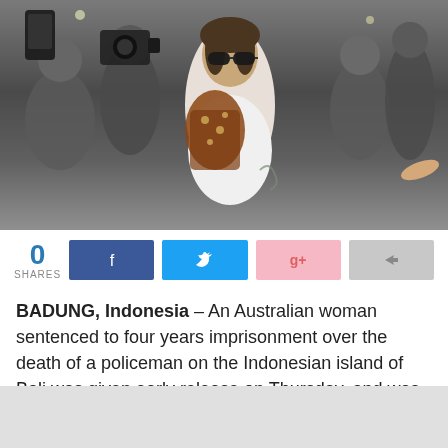[Figure (photo): Woman in sunglasses and patterned scarf surrounded by media photographers and cameras in outdoor setting]
0
SHARES
[Figure (infographic): Social sharing buttons: Facebook, Twitter, Google+, and a share icon button]
BADUNG, Indonesia – An Australian woman sentenced to four years imprisonment over the death of a policeman on the Indonesian island of Bali was given early release on Thursday, and was keen to be reunited with family, her lawyer said.
Sara Connor, 49, was jailed in March 2017 together with